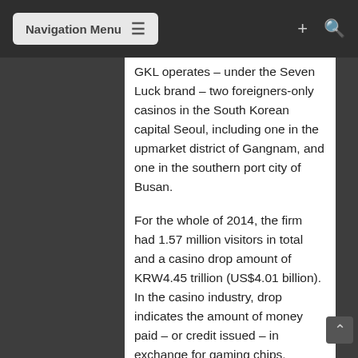Navigation Menu
GKL operates – under the Seven Luck brand – two foreigners-only casinos in the South Korean capital Seoul, including one in the upmarket district of Gangnam, and one in the southern port city of Busan.
For the whole of 2014, the firm had 1.57 million visitors in total and a casino drop amount of KRW4.45 trillion (US$4.01 billion). In the casino industry, drop indicates the amount of money paid – or credit issued – in exchange for gaming chips.
In the fourth quarter, GKL's revenue grew by 5 percent year-on-year to KRW149 billion. Operating profit rose by 4 percent year-on-year to KRW40.8 billion – lower than Daiwa's forecast of KRW45.2 billion and below analyst consensus.